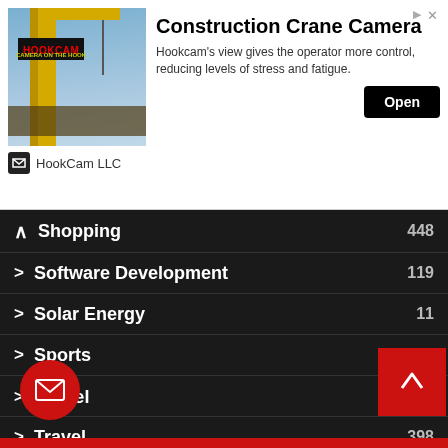[Figure (screenshot): Advertisement banner for HookCam LLC Construction Crane Camera app. Shows a crane photo on the left, bold title 'Construction Crane Camera', description text, and an Open button.]
Shopping 448
Software Development 119
Solar Energy 11
Sports 78
Technology 634
Travel 398
Uncategorized 3
Videography 2
Web Design 154
Web Development 159